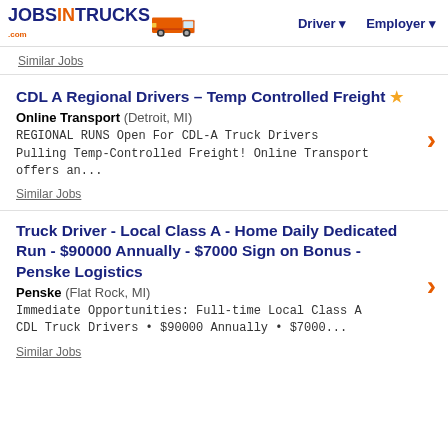JOBSINTRUCKS.com | Driver | Employer
Similar Jobs
CDL A Regional Drivers – Temp Controlled Freight ★
Online Transport (Detroit, MI)
REGIONAL RUNS Open For CDL-A Truck Drivers Pulling Temp-Controlled Freight! Online Transport offers an...
Similar Jobs
Truck Driver - Local Class A - Home Daily Dedicated Run - $90000 Annually - $7000 Sign on Bonus - Penske Logistics
Penske (Flat Rock, MI)
Immediate Opportunities: Full-time Local Class A CDL Truck Drivers • $90000 Annually • $7000...
Similar Jobs